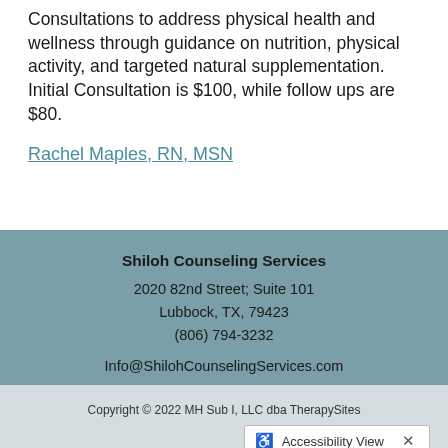Consultations to address physical health and wellness through guidance on nutrition, physical activity, and targeted natural supplementation. Initial Consultation is $100, while follow ups are $80.
Rachel Maples, RN, MSN
Shiloh Counseling Services
2020 82nd Street; Suite 101
Lubbock, TX, 79423
(806) 794-3232
Info@ShilohCounselingServices.com
Copyright © 2022 MH Sub I, LLC dba TherapySites